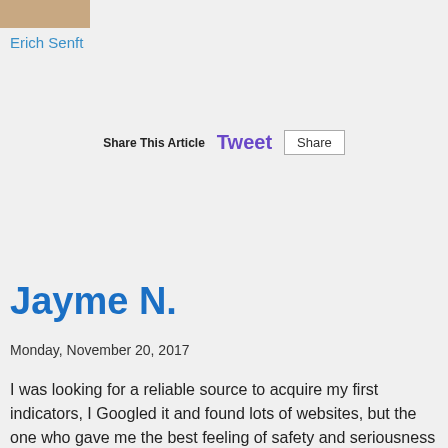[Figure (photo): Small author photo thumbnail at top left]
Erich Senft
Share This Article   Tweet   Share
Jayme N.
Monday, November 20, 2017
I was looking for a reliable source to acquire my first indicators, I Googled it and found lots of websites, but the one who gave me the best feeling of safety and seriousness was by far Indicatorwarehouse.com. I had some questions before which were promptly answered, they even called me to arrange everything I needed. After acquiring the indicators, I received everything (indicators and instructions) in less than a minute, all by email, very easy to use and all support given, I recommend Indicators